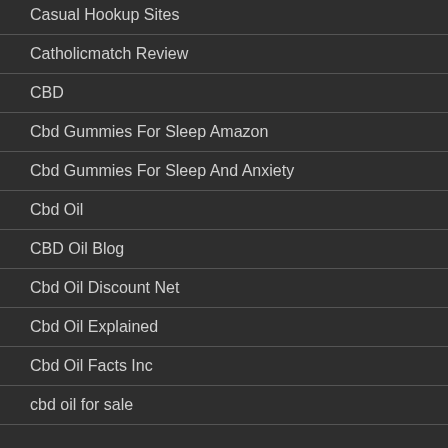Casual Hookup Sites
Catholicmatch Review
CBD
Cbd Gummies For Sleep Amazon
Cbd Gummies For Sleep And Anxiety
Cbd Oil
CBD Oil Blog
Cbd Oil Discount Net
Cbd Oil Explained
Cbd Oil Facts Inc
cbd oil for sale